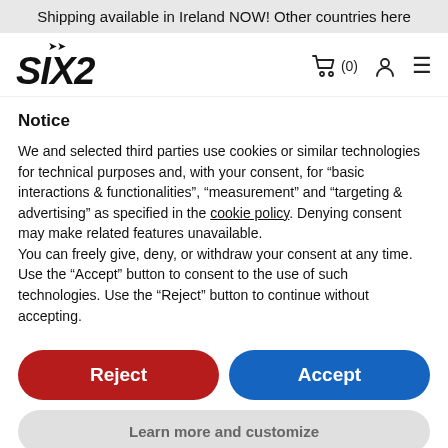Shipping available in Ireland NOW! Other countries here
[Figure (logo): SIX2 brand logo with stylized bold italic text and bird icon]
Notice
We and selected third parties use cookies or similar technologies for technical purposes and, with your consent, for “basic interactions & functionalities”, “measurement” and “targeting & advertising” as specified in the cookie policy. Denying consent may make related features unavailable.
You can freely give, deny, or withdraw your consent at any time.
Use the “Accept” button to consent to the use of such technologies. Use the “Reject” button to continue without accepting.
Reject
Accept
Learn more and customize